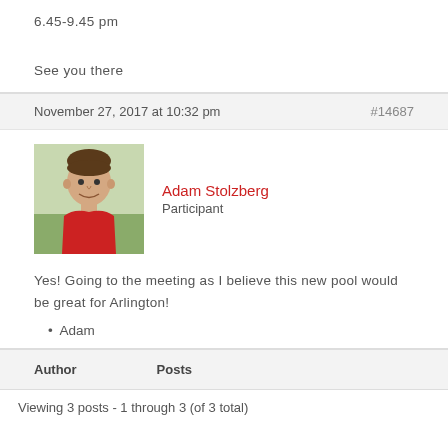6.45-9.45 pm
See you there
November 27, 2017 at 10:32 pm
#14687
[Figure (photo): Profile photo of Adam Stolzberg, a man smiling, wearing a red shirt, outdoor background]
Adam Stolzberg
Participant
Yes!  Going to the meeting as I believe this new pool would be great for Arlington!
Adam
Author    Posts
Viewing 3 posts - 1 through 3 (of 3 total)